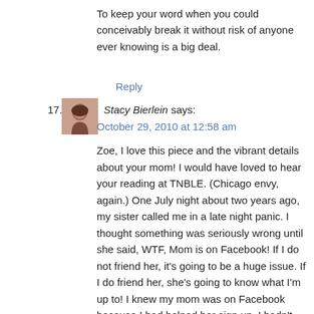To keep your word when you could conceivably break it without risk of anyone ever knowing is a big deal.
Reply
17. Stacy Bierlein says:
October 29, 2010 at 12:58 am
Zoe, I love this piece and the vibrant details about your mom! I would have loved to hear your reading at TNBLE. (Chicago envy, again.) One July night about two years ago, my sister called me in a late night panic. I thought something was seriously wrong until she said, WTF, Mom is on Facebook! If I do not friend her, it’s going to be a huge issue. If I do friend her, she’s going to know what I’m up to! I knew my mom was on Facebook because I had helped her sign up. I hadn’t thought it through. I hadn’t anticipated that she would like Facebook so much. (Mom draws the line at Twitter.) At one point Facebook became rather, well, personified in our family. As in, What do you mean I did not tell you such and such?! Well, you